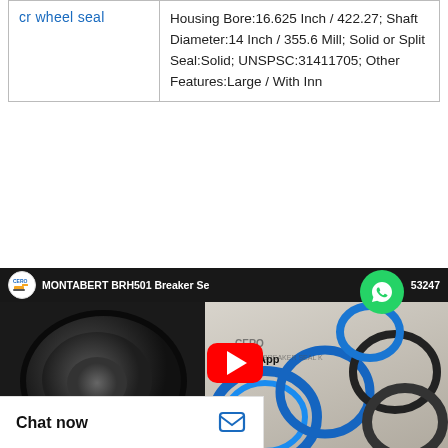|  |  |
| --- | --- |
| cr wheel seal | Housing Bore:16.625 Inch / 422.27; Shaft Diameter:14 Inch / 355.6 Mill; Solid or Split Seal:Solid; UNSPSC:31411705; Other Features:Large / With Inn |
[Figure (screenshot): YouTube video thumbnail showing MONTABERT BRH501 Breaker Seal kit with CERO logo, WhatsApp bubble overlay, dark rubber seal on left, colored O-rings on right, red YouTube play button in center, phone number partially visible]
Chat now